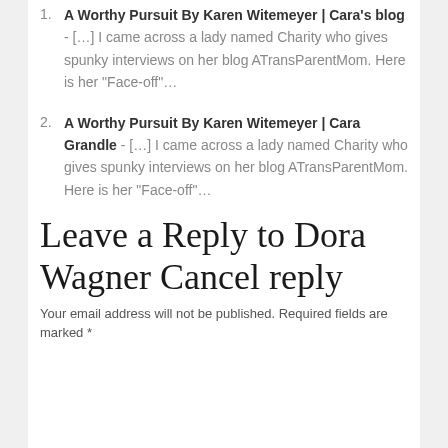1. A Worthy Pursuit By Karen Witemeyer | Cara's blog - [...] I came across a lady named Charity who gives spunky interviews on her blog ATransParentMom. Here is her “Face-off”…
2. A Worthy Pursuit By Karen Witemeyer | Cara Grandle - [...] I came across a lady named Charity who gives spunky interviews on her blog ATransParentMom. Here is her “Face-off”…
Leave a Reply to Dora Wagner Cancel reply
Your email address will not be published. Required fields are marked *